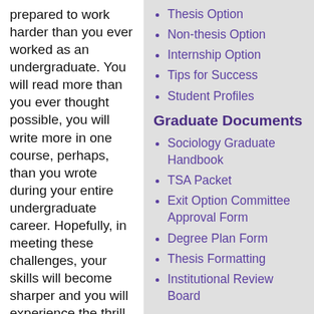prepared to work harder than you ever worked as an undergraduate. You will read more than you ever thought possible, you will write more in one course, perhaps, than you wrote during your entire undergraduate career. Hopefully, in meeting these challenges, your skills will become sharper and you will experience the thrill of discovery and
Thesis Option
Non-thesis Option
Internship Option
Tips for Success
Student Profiles
Graduate Documents
Sociology Graduate Handbook
TSA Packet
Exit Option Committee Approval Form
Degree Plan Form
Thesis Formatting
Institutional Review Board